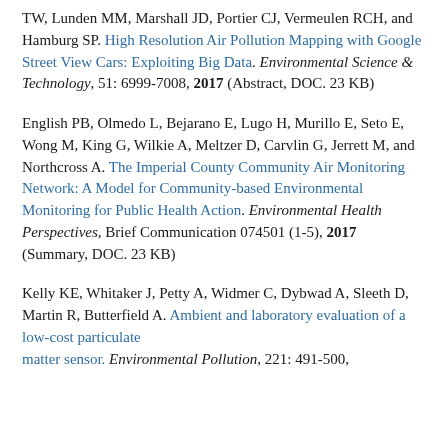TW, Lunden MM, Marshall JD, Portier CJ, Vermeulen RCH, and Hamburg SP. High Resolution Air Pollution Mapping with Google Street View Cars: Exploiting Big Data. Environmental Science & Technology, 51: 6999-7008, 2017 (Abstract, DOC. 23 KB)
English PB, Olmedo L, Bejarano E, Lugo H, Murillo E, Seto E, Wong M, King G, Wilkie A, Meltzer D, Carvlin G, Jerrett M, and Northcross A. The Imperial County Community Air Monitoring Network: A Model for Community-based Environmental Monitoring for Public Health Action. Environmental Health Perspectives, Brief Communication 074501 (1-5), 2017 (Summary, DOC. 23 KB)
Kelly KE, Whitaker J, Petty A, Widmer C, Dybwad A, Sleeth D, Martin R, Butterfield A. Ambient and laboratory evaluation of a low-cost particulate matter sensor. Environmental Pollution, 221: 491-500...